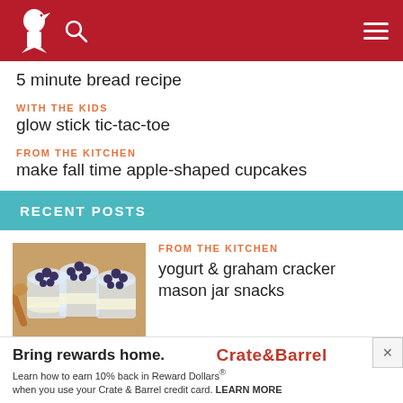Navigation header with bird logo, search icon, and menu
5 minute bread recipe
WITH THE KIDS
glow stick tic-tac-toe
FROM THE KITCHEN
make fall time apple-shaped cupcakes
RECENT POSTS
[Figure (photo): Glass mason jars filled with yogurt, graham cracker layers, and blueberries on top, on a wooden surface.]
FROM THE KITCHEN
yogurt & graham cracker mason jar snacks
[Figure (photo): Partial image of colorful back-to-school items on an orange/yellow background.]
WITH THE KIDS
17 back to school
Bring rewards home. Crate&Barrel Learn how to earn 10% back in Reward Dollars® when you use your Crate & Barrel credit card. LEARN MORE